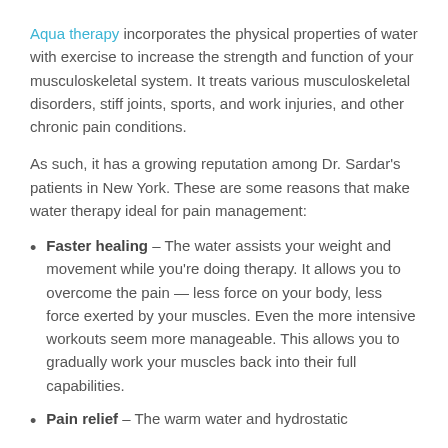Aqua therapy incorporates the physical properties of water with exercise to increase the strength and function of your musculoskeletal system. It treats various musculoskeletal disorders, stiff joints, sports, and work injuries, and other chronic pain conditions.
As such, it has a growing reputation among Dr. Sardar's patients in New York. These are some reasons that make water therapy ideal for pain management:
Faster healing – The water assists your weight and movement while you're doing therapy. It allows you to overcome the pain — less force on your body, less force exerted by your muscles. Even the more intensive workouts seem more manageable. This allows you to gradually work your muscles back into their full capabilities.
Pain relief – The warm water and hydrostatic